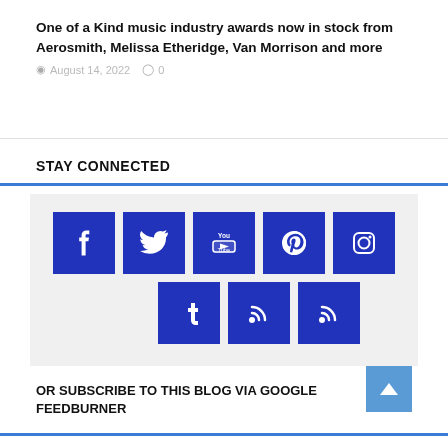One of a Kind music industry awards now in stock from Aerosmith, Melissa Etheridge, Van Morrison and more
August 14, 2022   0
STAY CONNECTED
[Figure (infographic): Social media icon grid: Facebook, Twitter, YouTube, Pinterest, Instagram on top row; Tumblr, RSS, RSS on bottom row — all white icons on dark blue square backgrounds on a light grey panel]
OR SUBSCRIBE TO THIS BLOG VIA GOOGLE FEEDBURNER